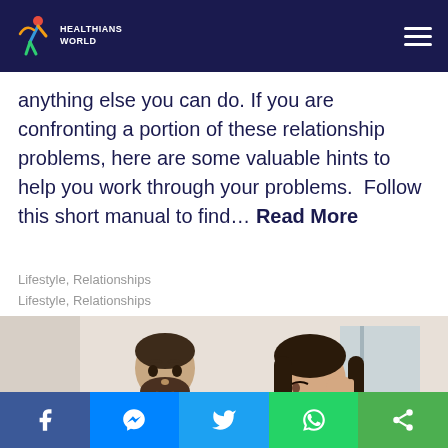Healthians World
anything else you can do. If you are confronting a portion of these relationship problems, here are some valuable hints to help you work through your problems.  Follow this short manual to find… Read More
Lifestyle, Relationships
Lifestyle, Relationships
[Figure (photo): A man in an orange turtleneck sweater looks at a woman who is crying and covering her eyes with her hand, sitting on a couch in a living room setting.]
Facebook | Messenger | Twitter | WhatsApp | Share